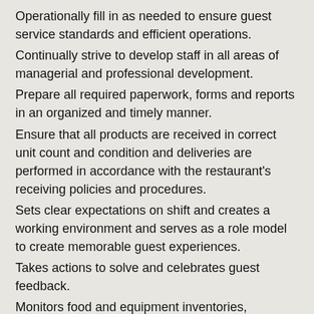Operationally fill in as needed to ensure guest service standards and efficient operations.
Continually strive to develop staff in all areas of managerial and professional development.
Prepare all required paperwork, forms and reports in an organized and timely manner.
Ensure that all products are received in correct unit count and condition and deliveries are performed in accordance with the restaurant's receiving policies and procedures.
Sets clear expectations on shift and creates a working environment and serves as a role model to create memorable guest experiences.
Takes actions to solve and celebrates guest feedback.
Monitors food and equipment inventories, conducts inventory counts and maintains inventory records.
Monitors compliance with health, safety, food handling, security and